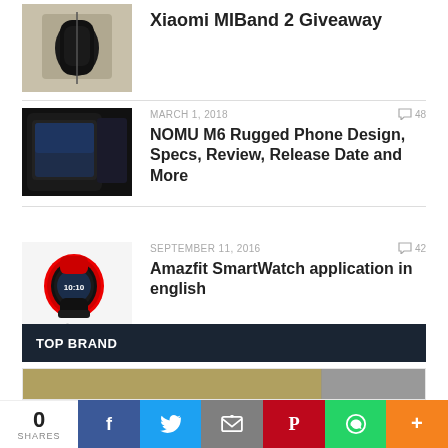[Figure (photo): Xiaomi MIBand 2 product photo - black fitness tracker on box]
Xiaomi MIBand 2 Giveaway
[Figure (photo): NOMU M6 rugged phone product promotional image]
MARCH 1, 2018  48
NOMU M6 Rugged Phone Design, Specs, Review, Release Date and More
[Figure (photo): Amazfit SmartWatch red and black product photo]
SEPTEMBER 11, 2016  42
Amazfit SmartWatch application in english
TOP BRAND
[Figure (photo): Brand banner image partially visible]
0 SHARES